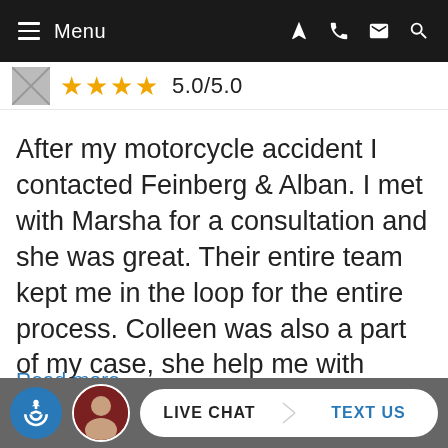Menu
[Figure (other): Star rating row showing avatar placeholder, 4 gold stars, and rating text 5.0/5.0]
After my motorcycle accident I contacted Feinberg & Alban. I met with Marsha for a consultation and she was great. Their entire team kept me in the loop for the entire process. Colleen was also a part of my case, she help me with understanding a lot ...
Read more
– Beantownie 617
LIVE CHAT | TEXT US